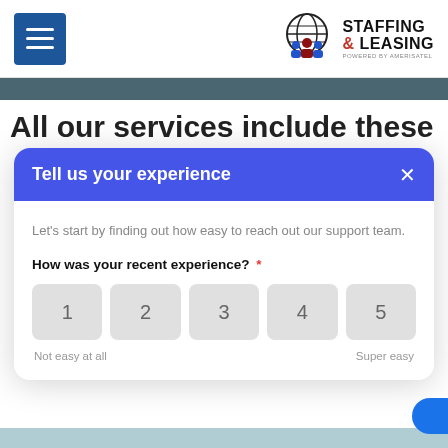[Figure (logo): Staffing & Leasing logo powered by Amerisatel, with globe and people graphic]
All our services include these
Tell us your experience
Let's start by finding out how easy to reach out our support team.
How was your recent experience? *
Not easy at all
Super easy